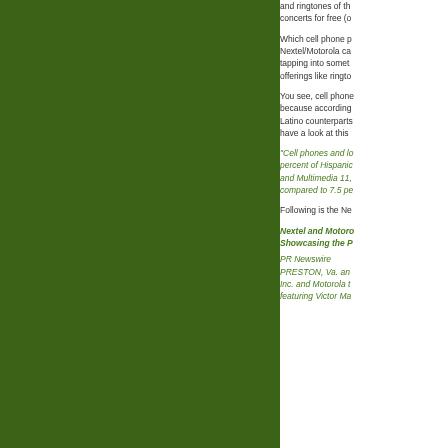[Figure (illustration): Dark olive/forest green solid color background panel on the left side of the page]
and ringtones of th... concerts for free (o...
Which cell phone p... Nextel/Motorola ca... tapping into somet... offerings like ringto...
You see, cell phone... because according... Latino counterparts... have a look at this
"Cell phones and lo... percent of Hispanic... and Multimedia 11,... compared to 7.5 pe...
Following is the Ne...
Nextel and Motoro... Showcasing the P...
PR Newswire PRESTON, Va. an... Inc. and Motorola t... featuring Victor Ma...